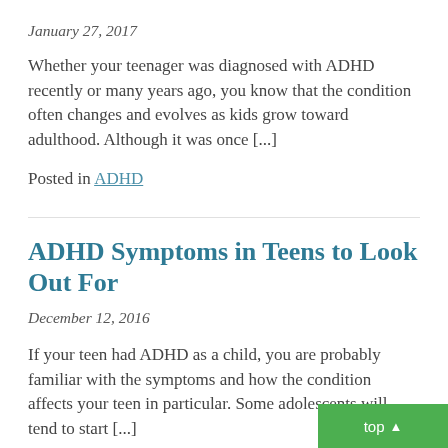January 27, 2017
Whether your teenager was diagnosed with ADHD recently or many years ago, you know that the condition often changes and evolves as kids grow toward adulthood. Although it was once [...]
Posted in ADHD
ADHD Symptoms in Teens to Look Out For
December 12, 2016
If your teen had ADHD as a child, you are probably familiar with the symptoms and how the condition affects your teen in particular. Some adolescents will tend to start [...]